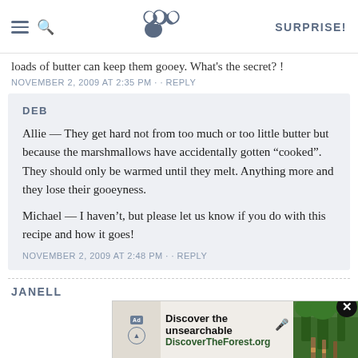SK | SURPRISE!
loads of butter can keep them gooey. What's the secret? !
NOVEMBER 2, 2009 AT 2:35 PM · · REPLY
DEB
Allie — They get hard not from too much or too little butter but because the marshmallows have accidentally gotten "cooked". They should only be warmed until they melt. Anything more and they lose their gooeyness.

Michael — I haven't, but please let us know if you do with this recipe and how it goes!
NOVEMBER 2, 2009 AT 2:48 PM · · REPLY
JANELL
[Figure (screenshot): Advertisement banner: 'Discover the unsearchable' with DiscoverTheForest.org URL, showing hikers in a forest. Close button visible at top right.]